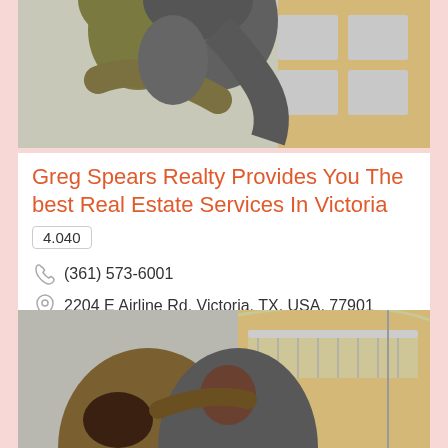[Figure (photo): Couple hugging outdoors near a house, top portion showing backs and shoulders]
Greg Spears Realty Provides You The best Real Estate Services In Victoria
4.040
(361) 573-6001
2204 E Airline Rd, Victoria, TX, USA, 77901
[Figure (photo): Couple viewed from behind embracing while looking at a house with balcony]